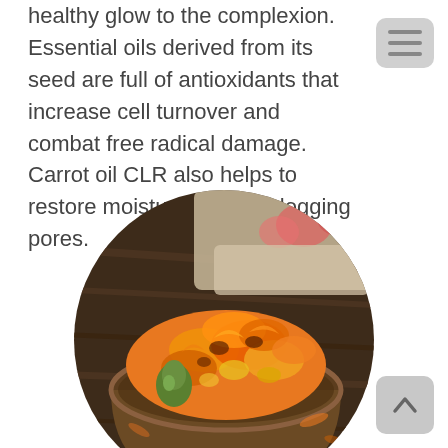healthy glow to the complexion. Essential oils derived from its seed are full of antioxidants that increase cell turnover and combat free radical damage. Carrot oil CLR also helps to restore moisture without clogging pores.
[Figure (photo): A circular cropped photograph showing a wooden bowl filled with dried orange calendula/marigold flowers, with a blurred background showing a white dish with red/pink apples and additional orange flowers, set on a dark wooden surface.]